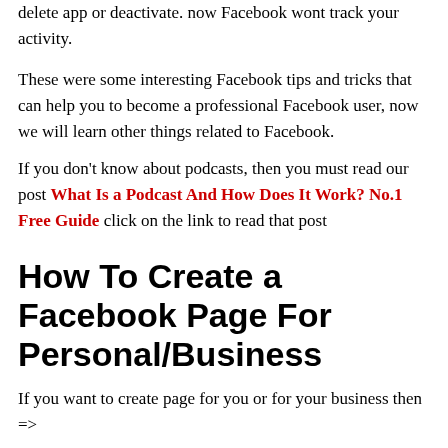delete app or deactivate. now Facebook wont track your activity.
These were some interesting Facebook tips and tricks that can help you to become a professional Facebook user, now we will learn other things related to Facebook.
If you don't know about podcasts, then you must read our post What Is a Podcast And How Does It Work? No.1 Free Guide click on the link to read that post
How To Create a Facebook Page For Personal/Business
If you want to create page for you or for your business then =>
Open Facebook then click on the page (on laptop or